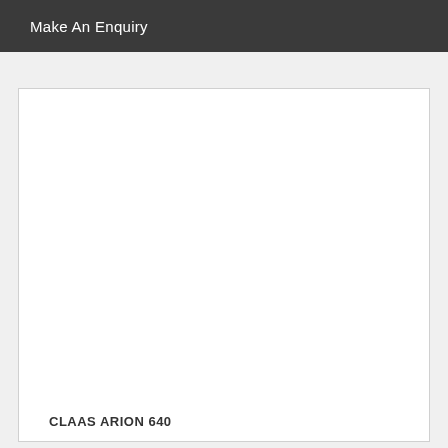Make An Enquiry
[Figure (photo): White product image area for CLAAS ARION 640 tractor, image not loaded]
CLAAS ARION 640